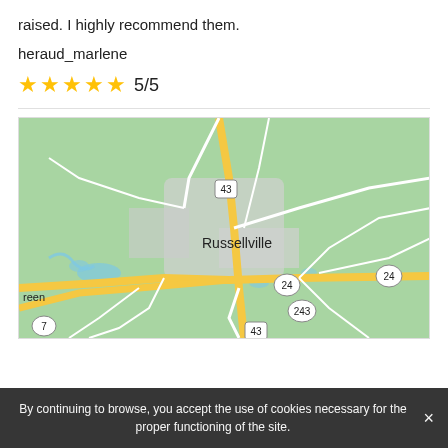raised. I highly recommend them.
heraud_marlene
★★★★★ 5/5
[Figure (map): Google Maps view of Russellville area showing roads including routes 43, 24, and 243, with the town center labeled 'Russellville'. Roads shown in yellow (major) and white (minor) on a green background.]
By continuing to browse, you accept the use of cookies necessary for the proper functioning of the site.